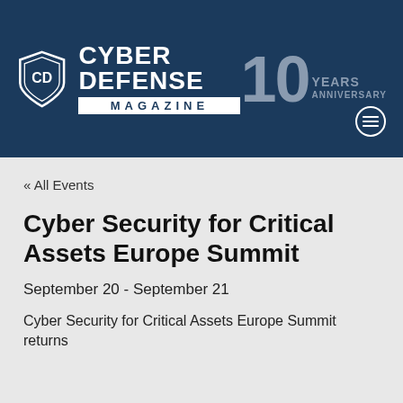[Figure (logo): Cyber Defense Magazine logo with shield icon, brand name, and 10 Years Anniversary badge on dark navy background]
« All Events
Cyber Security for Critical Assets Europe Summit
September 20 - September 21
Cyber Security for Critical Assets Europe Summit returns